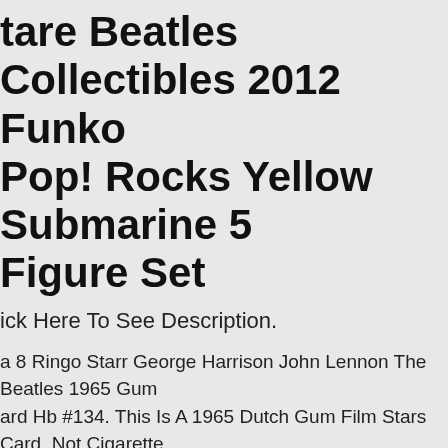tare Beatles Collectibles 2012 Funko Pop! Rocks Yellow Submarine 5 Figure Set
ick Here To See Description.
a 8 Ringo Starr George Harrison John Lennon The Beatles 1965 Gum ard Hb #134. This Is A 1965 Dutch Gum Film Stars Card, Not Cigarette r Tobacco. Good Luck With Your Collection.
Beautiful Rare Numbered Black & White Beatles Waving Off Plane Framed Photo
et Images That. Located In The Heart Of Sutton Place And Decorator aw, Nyc!